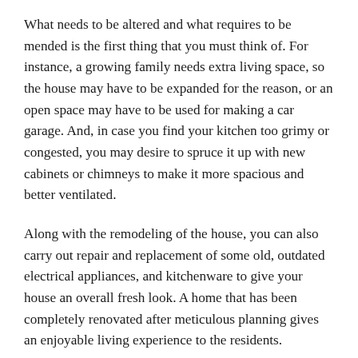What needs to be altered and what requires to be mended is the first thing that you must think of. For instance, a growing family needs extra living space, so the house may have to be expanded for the reason, or an open space may have to be used for making a car garage. And, in case you find your kitchen too grimy or congested, you may desire to spruce it up with new cabinets or chimneys to make it more spacious and better ventilated.
Along with the remodeling of the house, you can also carry out repair and replacement of some old, outdated electrical appliances, and kitchenware to give your house an overall fresh look. A home that has been completely renovated after meticulous planning gives an enjoyable living experience to the residents.
Some people also renovate their home to make it more appealing to prospective buyers and therefore increasing its